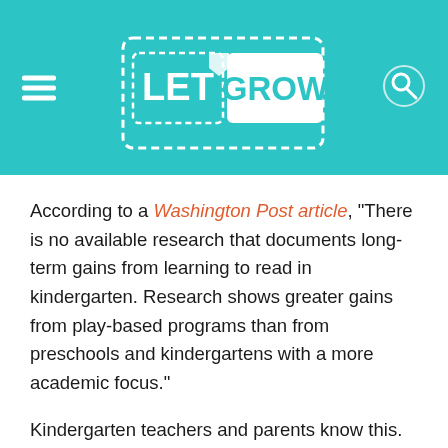[Figure (logo): Let Grow logo in white dashed-border style on teal background header, with hamburger menu icon on left and search icon on right]
According to a Washington Post article, “There is no available research that documents long-term gains from learning to read in kindergarten. Research shows greater gains from play-based programs than from preschools and kindergartens with a more academic focus.”
Kindergarten teachers and parents know this. They see their students squirm and struggle to listen and focus for long periods of instruction and seat-work. This environment is creating anxiety and animosity toward school at a time when there should only be excitement and love. It is no surprise, then, that the new standards